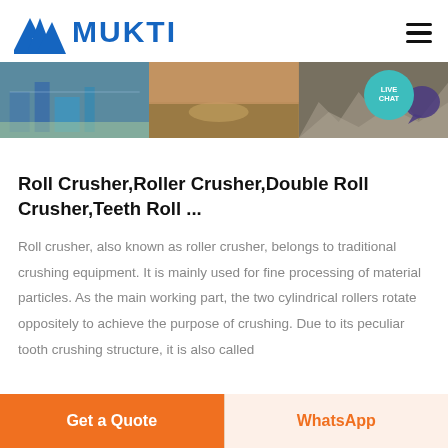MUKTI
[Figure (photo): Banner strip showing three industrial images: a blue machinery/plant setup, a dirt/construction site aerial view, and a pile of crushed rocks/aggregate. A teal 'LIVE CHAT' bubble and speech bubble icon overlay the top-right corner.]
Roll Crusher,Roller Crusher,Double Roll Crusher,Teeth Roll ...
Roll crusher, also known as roller crusher, belongs to traditional crushing equipment. It is mainly used for fine processing of material particles. As the main working part, the two cylindrical rollers rotate oppositely to achieve the purpose of crushing. Due to its peculiar tooth crushing structure, it is also called